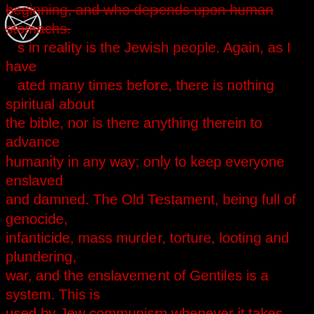[Figure (logo): Pentagram symbol in a circle, white outline on black background, top-left corner]
beginning, and who depends upon human stomachs. ...s in reality is the Jewish people. Again, as I have stated many times before, there is nothing spiritual about the bible, nor is there anything therein to advance humanity in any way; only to keep everyone enslaved and damned. The Old Testament, being full of genocide, infanticide, mass murder, torture, looting and plundering, war, and the enslavement of Gentiles is a system. This is used by Jew communism whenever it takes hold of a nation or area. Before actual communism, the Catholic Church and its inquisition acted by the exact same methods. Under this murderous institution, same as with Jew communism, all knowledge was removed from the populace, hence the tern the "Dark Ages" and replaced with compulsory church propaganda, same as with communism brainwashing. The New Testament with the communist teachings of the nazarene is chock full of suicidal advice such as cut off thine hand, pluck out thine eye, turn the other cheek, walk the extra mile, bless